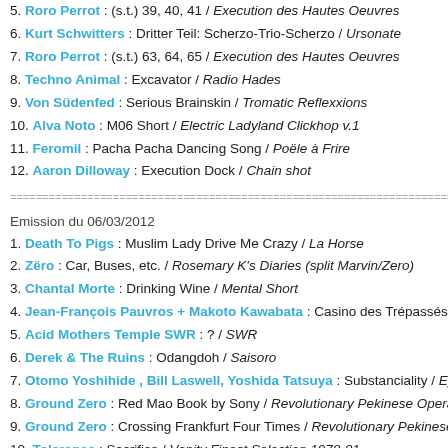5. Roro Perrot : (s.t.) 39, 40, 41 / Execution des Hautes Oeuvres
6. Kurt Schwitters : Dritter Teil: Scherzo-Trio-Scherzo / Ursonate
7. Roro Perrot : (s.t.) 63, 64, 65 / Execution des Hautes Oeuvres
8. Techno Animal : Excavator / Radio Hades
9. Von Südenfed : Serious Brainskin / Tromatic Reflexxions
10. Alva Noto : M06 Short / Electric Ladyland Clickhop v.1
11. Feromil : Pacha Pacha Dancing Song / Poële à Frire
12. Aaron Dilloway : Execution Dock / Chain shot
========================================
Emission du 06/03/2012
1. Death To Pigs : Muslim Lady Drive Me Crazy / La Horse
2. Zëro : Car, Buses, etc. / Rosemary K's Diaries (split Marvin/Zero)
3. Chantal Morte : Drinking Wine / Mental Short
4. Jean-François Pauvros + Makoto Kawabata : Casino des Trépassés / Extr
5. Acid Mothers Temple SWR : ? / SWR
6. Derek & The Ruins : Odangdoh / Saisoro
7. Otomo Yoshihide , Bill Laswell, Yoshida Tatsuya : Substanciality / Episom
8. Ground Zero : Red Mao Book by Sony / Revolutionary Pekinese Opera (v 1.
9. Ground Zero : Crossing Frankfurt Four Times / Revolutionary Pekinese Ope
10. Tolerance : Sacrifice / Vanity Finest Selection 1978-81
11. Kiiro Radical : Denki Noise Dance 3 / Vanity Finest Selection 1978-81
========================================
Emission du 13/03/2012